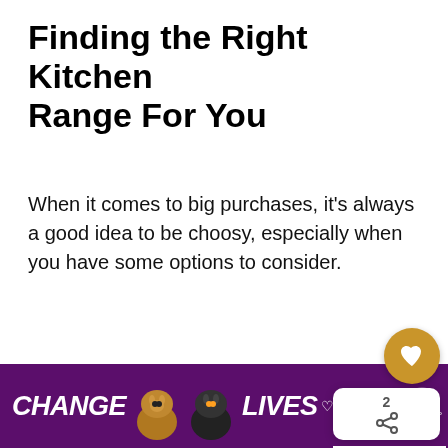Finding the Right Kitchen Range For You
When it comes to big purchases, it's always a good idea to be choosy, especially when you have some options to consider.
People who live in a house with a gas hookup, for example, might appreciate this kitchen range the most. It's sleek and straightforward design make easy to install in any space.
[Figure (screenshot): UI overlay with heart/like button (gold circle), share count (2), share icon, and a 'What's Next' widget showing a thumbnail and text 'How To Secure A...']
[Figure (photo): Partial view of a kitchen range product image below an orange divider line]
[Figure (photo): Advertisement banner with purple background showing two cats and text 'CHANGE LIVES' with a close button and brand logo]